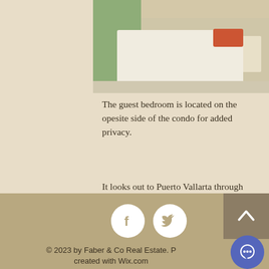[Figure (photo): Bedroom photo showing a bed with white linens and red pillows, light-colored walls and flooring, partial window visible]
The guest bedroom is located on the opesite side of the condo for added privacy.
It looks out to Puerto Vallarta through huge glass walls that fully open.  You'll want to linger in bed and enjoy the magnificent sunrise as it creeps over the hills of Conchas Chinas!
[Figure (other): Facebook icon - white F on white circle]
[Figure (other): Twitter icon - white bird on white circle]
[Figure (other): Up arrow navigation button on dark brown square]
© 2023 by Faber & Co Real Estate. Proudly created with Wix.com
[Figure (other): Chat/message bubble icon in blue circle]